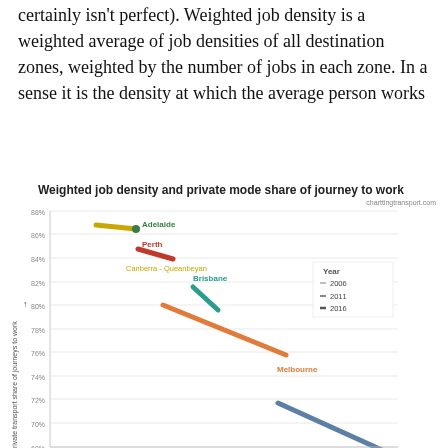certainly isn't perfect). Weighted job density is a weighted average of job densities of all destination zones, weighted by the number of jobs in each zone. In a sense it is the density at which the average person works
[Figure (continuous-plot): Scatter plot with trend lines for Australian cities (Adelaide, Perth, Canberra-Queanbeyan, Brisbane, Melbourne, and one more partially visible) showing weighted job density on x-axis vs private transport share of journeys to work on y-axis, for years 2006, 2011, 2016. Y-axis ranges from 68% to 88%. Cities with higher job density tend to have lower private transport share.]